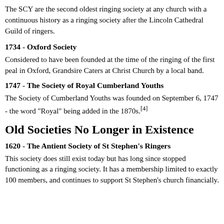The SCY are the second oldest ringing society at any church with a continuous history as a ringing society after the Lincoln Cathedral Guild of ringers.
1734 - Oxford Society
Considered to have been founded at the time of the ringing of the first peal in Oxford, Grandsire Caters at Christ Church by a local band.
1747 - The Society of Royal Cumberland Youths
The Society of Cumberland Youths was founded on September 6, 1747 - the word "Royal" being added in the 1870s.[4]
Old Societies No Longer in Existence
1620 - The Antient Society of St Stephen's Ringers
This society does still exist today but has long since stopped functioning as a ringing society. It has a membership limited to exactly 100 members, and continues to support St Stephen's church financially.